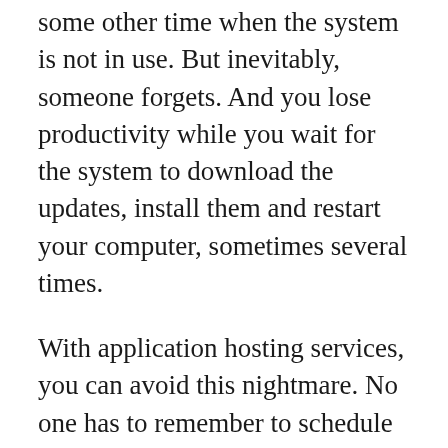some other time when the system is not in use. But inevitably, someone forgets. And you lose productivity while you wait for the system to download the updates, install them and restart your computer, sometimes several times.
With application hosting services, you can avoid this nightmare. No one has to remember to schedule the updates, no one has to restart their computer five times while they should be working, and no one has to remember to leave their computer on overnight for the